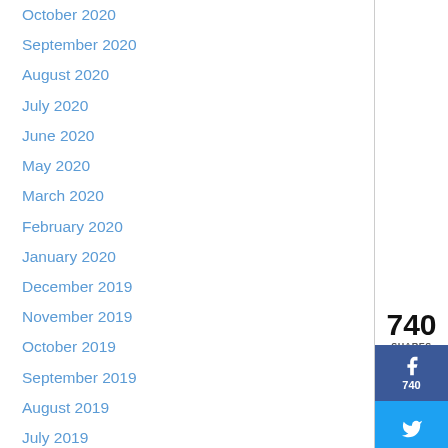October 2020
September 2020
August 2020
July 2020
June 2020
May 2020
March 2020
February 2020
January 2020
December 2019
November 2019
October 2019
September 2019
August 2019
July 2019
June 2019
May 2019
April 2019
March 2019
February 2019
January 2019
[Figure (infographic): Social share widget showing 740 shares with Facebook (740), Twitter, Pinterest, Instagram, and Google+ buttons]